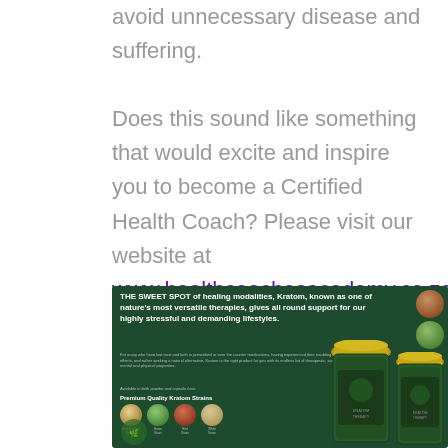avoid unnecessary disease and suffering.

Does this sound like something that would excite and inspire you to become a Certified Health Coach? Please visit our website at www.healthcoachesacademy.co.za and book a call or download our information pack today.
[Figure (infographic): Advertisement for Kratom Therapy on dark green background. Headline: 'THE SWEET SPOT of healing modalities, Kratom, known as one of nature's most versatile therapies, gives all round support for our highly stressful and demanding lifestyles.' Shows Premium Quality Kratom Strains: Gold & Yellow Kratom, Green Strain, Red Strain, White Strain as circular images. Two glass jars with gold lids and Kratom Therapy branding on the right side.]